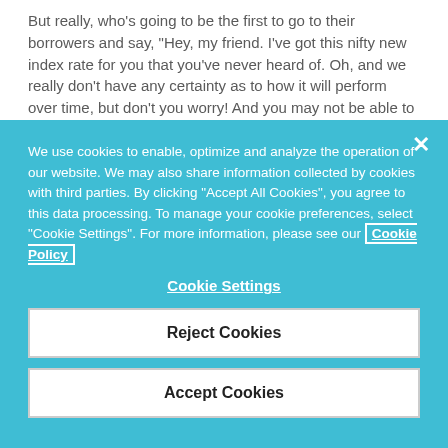But really, who's going to be the first to go to their borrowers and say, "Hey, my friend. I've got this nifty new index rate for you that you've never heard of. Oh, and we really don't have any certainty as to how it will perform over time, but don't you worry! And you may not be able to hedge without basis mismatch." I love this idea!
We use cookies to enable, optimize and analyze the operation of our website. We may also share information collected by cookies with third parties. By clicking "Accept All Cookies", you agree to this data processing. To manage your cookie preferences, select "Cookie Settings". For more information, please see our Cookie Policy
Cookie Settings
Reject Cookies
Accept Cookies